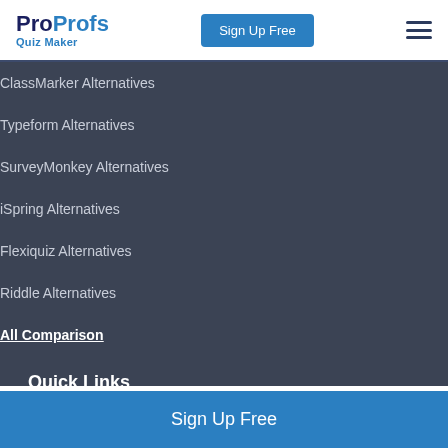ProProfs Quiz Maker | Sign Up Free
ClassMarker Alternatives
Typeform Alternatives
SurveyMonkey Alternatives
iSpring Alternatives
Flexiquiz Alternatives
Riddle Alternatives
All Comparison
Quick Links
Sign Up Free